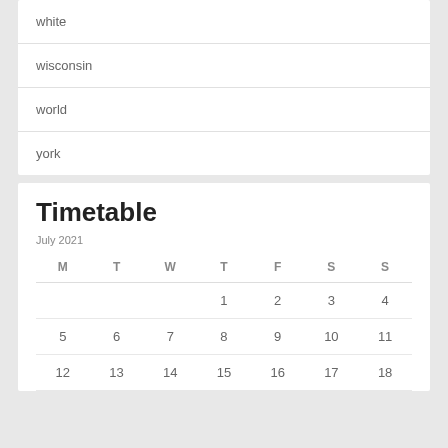white
wisconsin
world
york
Timetable
July 2021
| M | T | W | T | F | S | S |
| --- | --- | --- | --- | --- | --- | --- |
|  |  |  | 1 | 2 | 3 | 4 |
| 5 | 6 | 7 | 8 | 9 | 10 | 11 |
| 12 | 13 | 14 | 15 | 16 | 17 | 18 |